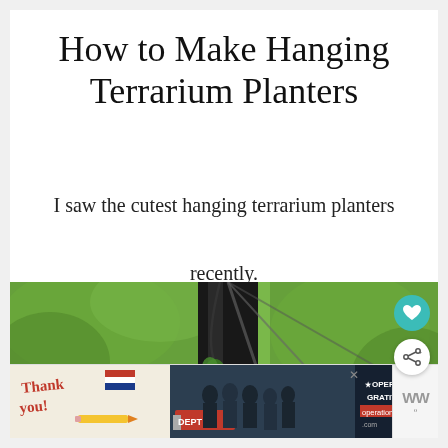How to Make Hanging Terrarium Planters
I saw the cutest hanging terrarium planters recently.
[Figure (photo): Outdoor photo showing dark tree trunk or pole with green hanging terrarium planters and green foliage in the background, with diagonal rails visible]
[Figure (other): Advertisement banner: Thank You with Operation Gratitude branding, showing firefighters and a patriotic ribbon. Includes close button and WD logo on the right.]